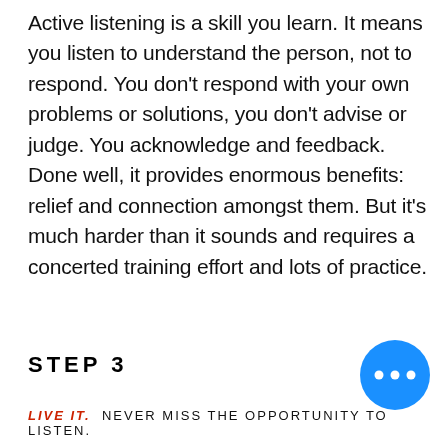Active listening is a skill you learn. It means you listen to understand the person, not to respond. You don't respond with your own problems or solutions, you don't advise or judge. You acknowledge and feedback. Done well, it provides enormous benefits: relief and connection amongst them. But it's much harder than it sounds and requires a concerted training effort and lots of practice.
STEP 3
[Figure (other): Blue circle with three white dots (ellipsis) indicating more content]
LIVE IT. NEVER MISS THE OPPORTUNITY TO LISTEN.